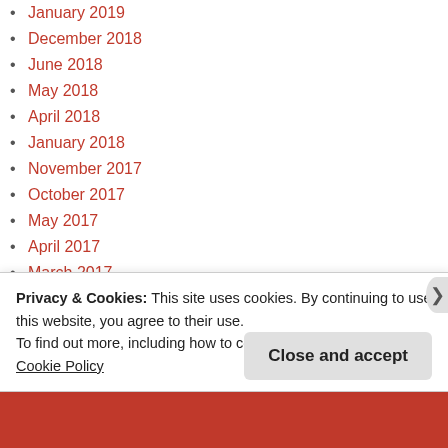January 2019
December 2018
June 2018
May 2018
April 2018
January 2018
November 2017
October 2017
May 2017
April 2017
March 2017
February 2017
December 2016
November 2016
October 2016
September 2016
August 2016
July 2016
June 2016
Privacy & Cookies: This site uses cookies. By continuing to use this website, you agree to their use. To find out more, including how to control cookies, see here: Cookie Policy
Close and accept